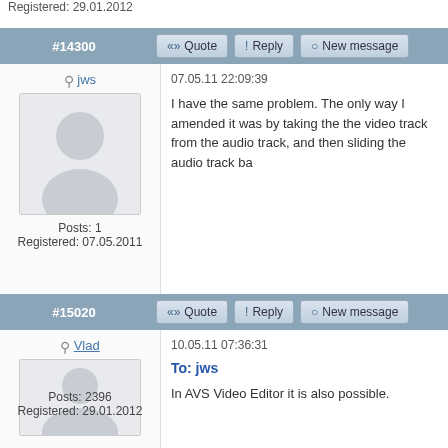Registered: 29.01.2012
#14300
jws
07.05.11 22:09:39
I have the same problem. The only way I amended it was by taking the the video track from the audio track, and then sliding the audio track ba
Posts: 1
Registered: 07.05.2011
#15020
Vlad
10.05.11 07:36:31
To: jws
In AVS Video Editor it is also possible.
Posts: 2396
Registered: 29.01.2012